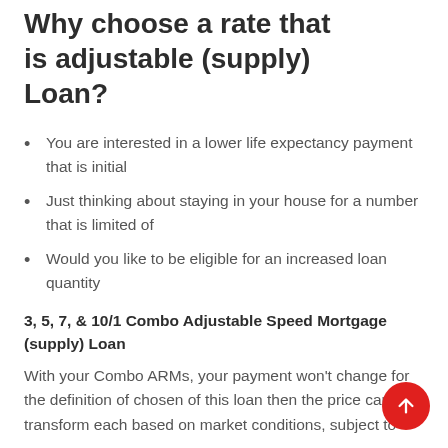Why choose a rate that is adjustable (supply) Loan?
You are interested in a lower life expectancy payment that is initial
Just thinking about staying in your house for a number that is limited of
Would you like to be eligible for an increased loan quantity
3, 5, 7, & 10/1 Combo Adjustable Speed Mortgage (supply) Loan
With your Combo ARMs, your payment won't change for the definition of chosen of this loan then the price can transform each based on market conditions, subject to